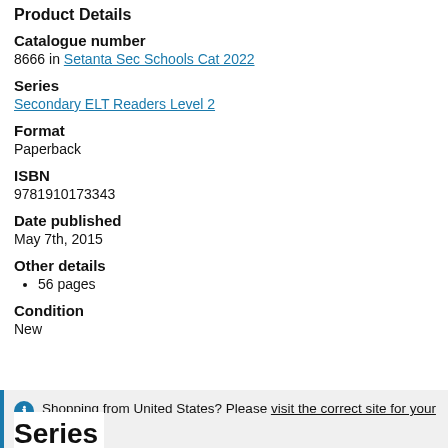Product Details
Catalogue number
8666 in Setanta Sec Schools Cat 2022
Series
Secondary ELT Readers Level 2
Format
Paperback
ISBN
9781910173343
Date published
May 7th, 2015
Other details
56 pages
Condition
New
Shopping from United States? Please visit the correct site for your location.
Series